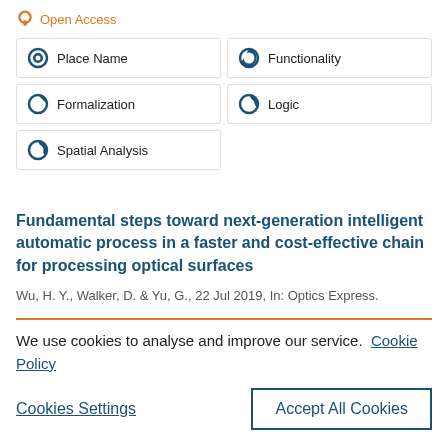Open Access
Place Name
Functionality
Formalization
Logic
Spatial Analysis
Fundamental steps toward next-generation intelligent automatic process in a faster and cost-effective chain for processing optical surfaces
Wu, H. Y., Walker, D. & Yu, G., 22 Jul 2019, In: Optics Express.
We use cookies to analyse and improve our service. Cookie Policy
Cookies Settings
Accept All Cookies